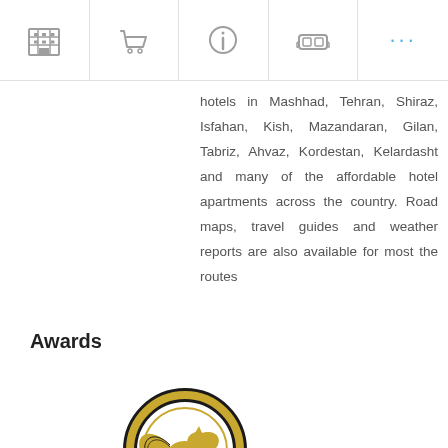[Navigation bar with icons: hotel/building, shopping cart, info, car/sofa, more (dots)]
hotels in Mashhad, Tehran, Shiraz, Isfahan, Kish, Mazandaran, Gilan, Tabriz, Ahvaz, Kordestan, Kelardasht and many of the affordable hotel apartments across the country. Road maps, travel guides and weather reports are also available for most the routes
Awards
[Figure (photo): A gold and black award trophy featuring a winged horse (Pegasus) on a circular background, mounted on a dark pedestal base with Persian text inscription and 'Homa Hotel Group' text.]